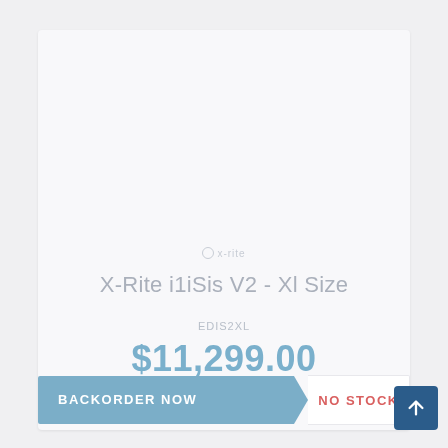[Figure (logo): X-Rite brand logo mark (small circle icon with brand name)]
X-Rite i1iSis V2 - Xl Size
EDIS2XL
$11,299.00
BACKORDER NOW
NO STOCK